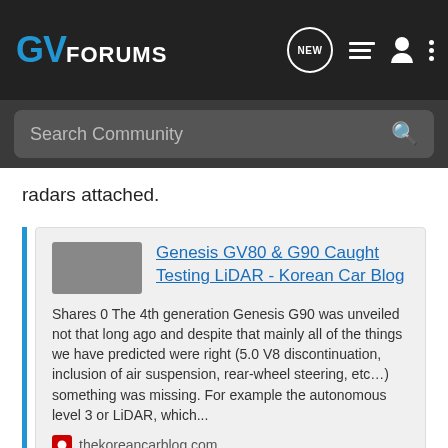GV FORUMS
radars attached.
[Figure (screenshot): Link card preview for 'Genesis GV80 & G90 Caught Testing LiDAR - Korean Car Blog' with thumbnail image and excerpt text]
Those prototypes spotted several times showed a two-radar system installed in the front grille. But after Genesis revealed